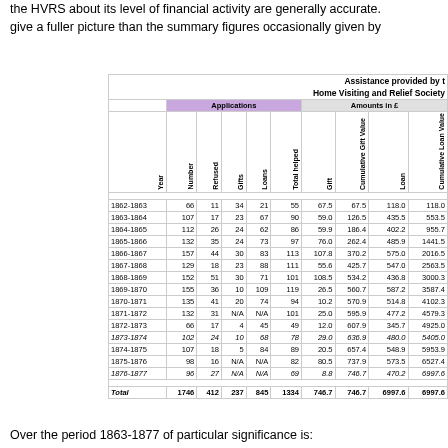the HVRS about its level of financial activity are generally accurate. give a fuller picture than the summary figures occasionally given by
| Year | Number | Refused | Gifts | Loans | Total helped | Gift | Cumulative Gift Value | Loan | Cumulative Loan Value |
| --- | --- | --- | --- | --- | --- | --- | --- | --- | --- |
| 1862-1863 | 66 | 11 | 34 | 21 | 55 | 67.5 | 67.5 | 118.0 | 118.0 |
| 1863-1864 | 107 | 17 | 23 | 67 | 90 | 59.0 | 126.5 | 435.5 | 553.5 |
| 1864-1865 | 112 | 26 | 24 | 62 | 86 | 59.9 | 186.4 | 402.2 | 955.7 |
| 1865-1866 | 132 | 35 | 24 | 73 | 97 | 76.0 | 262.4 | 485.9 | 1441.5 |
| 1866-1867 | 157 | 44 | 30 | 83 | 113 | 107.8 | 370.2 | 575.0 | 2016.5 |
| 1867-1868 | 129 | 18 | 23 | 88 | 111 | 55.6 | 425.7 | 547.0 | 2563.5 |
| 1868-1869 | 152 | 51 | 30 | 71 | 101 | 108.5 | 534.2 | 436.8 | 3000.3 |
| 1869-1870 | 155 | 36 | 10 | 109 | 119 | 26.5 | 560.7 | 587.2 | 3587.4 |
| 1870-1871 | 135 | 41 | 20 | 74 | 94 | 10.2 | 570.9 | 514.8 | 4102.3 |
| 1871-1872 | 132 | 31 | N/A | N/A | 101 | 25.0 | 595.9 | 477.2 | 4579.3 |
| 1872-1873 | 66 | 17 | 4 | 45 | 49 | 12.0 | 607.9 | 345.7 | 4925.0 |
| 1873-1874 | 102 | 24 | 10 | 68 | 78 | 29.0 | 636.9 | 480.0 | 5405.0 |
| 1874-1875 | 107 | 18 | 5 | 84 | 89 | 20.5 | 657.4 | 548.9 | 5953.9 |
| 1875-1876 | 98 | 16 | N/A | N/A | 82 | 80.5 | 737.9 | 573.5 | 6527.4 |
| 1876-1877 | 96 | 27 | N/A | N/A | 69 | 8.8 | 746.7 | 470.2 | 6997.6 |
| Total | 1746 | 412 | 237 | 845 | 1334 | 746.7 | 746.7 | 6997.6 | 6997.6 |
Over the period 1863-1877 of particular significance is: